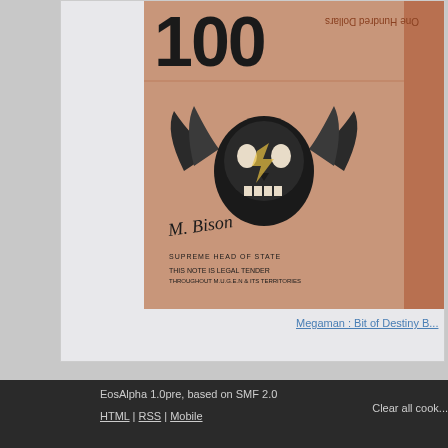For me, it was Tuesday...
[Figure (photo): A fictional 100-dollar bill styled with a skull and wings logo, M. Bison signature, reading 'Supreme Head of State' and 'This Note is Legal Tender Throughout M.U.G.E.N & Its Territories']
Megaman : Bit of Destiny B...
Page 1 of 1   1   Go Up
The Mugen Fighters Guild → M.U.G.E.N Central → Your Releases, 1.0+ →
EosAlpha 1.0pre, based on SMF 2.0
HTML | RSS | Mobile
Clear all cook...